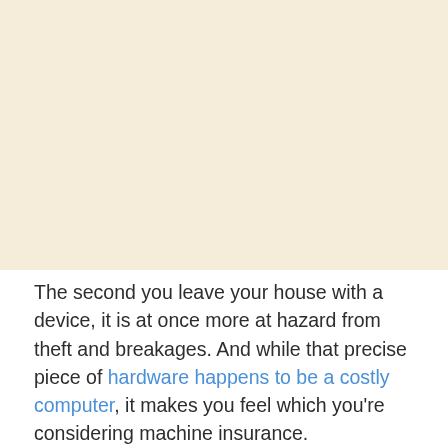[Figure (other): Large blank/empty cream-colored image area occupying the top portion of the page]
The second you leave your house with a device, it is at once more at hazard from theft and breakages. And while that precise piece of hardware happens to be a costly computer, it makes you feel which you're considering machine insurance.